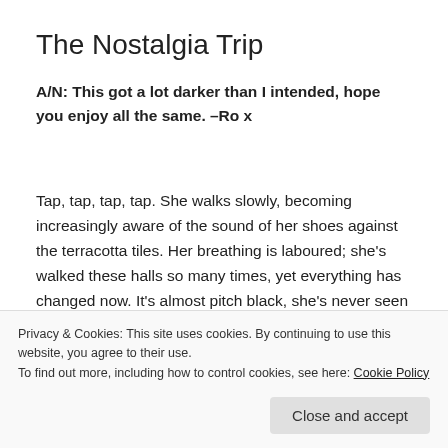The Nostalgia Trip
A/N: This got a lot darker than I intended, hope you enjoy all the same. –Ro x
Tap, tap, tap, tap. She walks slowly, becoming increasingly aware of the sound of her shoes against the terracotta tiles. Her breathing is laboured; she's walked these halls so many times, yet everything has changed now. It's almost pitch black, she's never seen the place this dark before. If she shut her eyes she'd be able to
Privacy & Cookies: This site uses cookies. By continuing to use this website, you agree to their use.
To find out more, including how to control cookies, see here: Cookie Policy
Close and accept
the many posters they'd tacked over the scruffiest parts